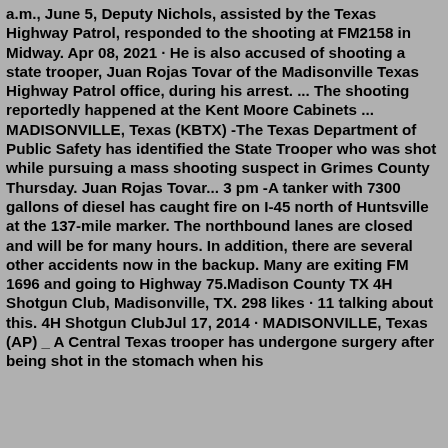a.m., June 5, Deputy Nichols, assisted by the Texas Highway Patrol, responded to the shooting at FM2158 in Midway. Apr 08, 2021 · He is also accused of shooting a state trooper, Juan Rojas Tovar of the Madisonville Texas Highway Patrol office, during his arrest. ... The shooting reportedly happened at the Kent Moore Cabinets ... MADISONVILLE, Texas (KBTX) -The Texas Department of Public Safety has identified the State Trooper who was shot while pursuing a mass shooting suspect in Grimes County Thursday. Juan Rojas Tovar... 3 pm -A tanker with 7300 gallons of diesel has caught fire on I-45 north of Huntsville at the 137-mile marker. The northbound lanes are closed and will be for many hours. In addition, there are several other accidents now in the backup. Many are exiting FM 1696 and going to Highway 75.Madison County TX 4H Shotgun Club, Madisonville, TX. 298 likes · 11 talking about this. 4H Shotgun ClubJul 17, 2014 · MADISONVILLE, Texas (AP) _ A Central Texas trooper has undergone surgery after being shot in the stomach when his